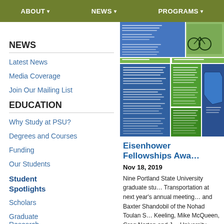ABOUT ▾   NEWS ▾   PROGRAMS ▾
NEWS
Latest News
Media Coverage
Join Our Mailing List
EDUCATION
Why Study at PSU?
Degrees and Courses
Funding
Our Students
Student Spotlights
Scholars
Graduate Research Assistants
[Figure (photo): A poster board showing transportation research information with blue and green sections, text, maps and charts.]
Eisenhower Fellowships Awa…
Nov 18, 2019
Nine Portland State University graduate stu… Transportation at next year's annual meeting… and Baxter Shandobil of the Nohad Toulan S… Keeling, Mike McQueen, Greg Norton and J… University.
This is the second Eisenhower award for Ba… Glick and Greg Norton both won Eisenhowe… award. Meet the PSU Eisenhower Fellows o…